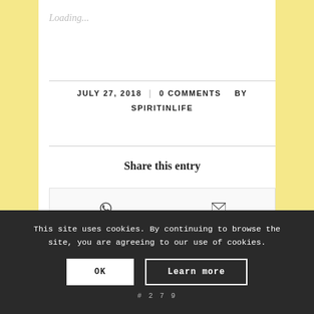Loading...
JULY 27, 2018  |  0 COMMENTS  BY SPIRITINLIFE
Share this entry
This site uses cookies. By continuing to browse the site, you are agreeing to our use of cookies.
OK  Learn more
#279